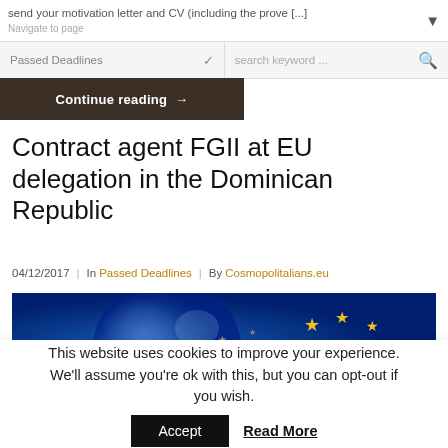send your motivation letter and CV (including the prove [...] Navigate to page
Passed Deadlines | search keyword ...
Continue reading →
Contract agent FGII at EU delegation in the Dominican Republic
04/12/2017 | In Passed Deadlines | By Cosmopolitalians.eu
[Figure (photo): EU flag stars on blue globe background]
This website uses cookies to improve your experience. We'll assume you're ok with this, but you can opt-out if you wish. Accept | Read More